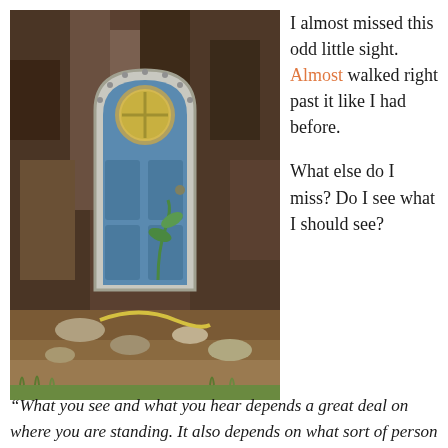[Figure (photo): A small decorative fairy door with a blue arched wooden door and a round yellow window with a cross pattern, placed at the base of a large tree with rough bark. The door is surrounded by rocks, soil, and small plants on the forest floor.]
I almost missed this odd little sight. Almost walked right past it like I had before.

What else do I miss? Do I see what I should see?
“What you see and what you hear depends a great deal on where you are standing. It also depends on what sort of person